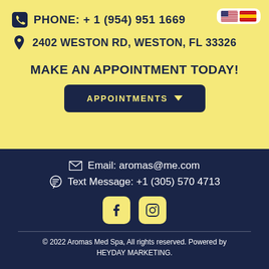PHONE: + 1 (954) 951 1669
2402 WESTON RD, WESTON, FL 33326
MAKE AN APPOINTMENT TODAY!
APPOINTMENTS
Email: aromas@me.com
Text Message: +1 (305) 570 4713
[Figure (logo): Facebook icon and Instagram icon social media buttons in yellow rounded squares]
© 2022 Aromas Med Spa, All rights reserved. Powered by HEYDAY MARKETING.